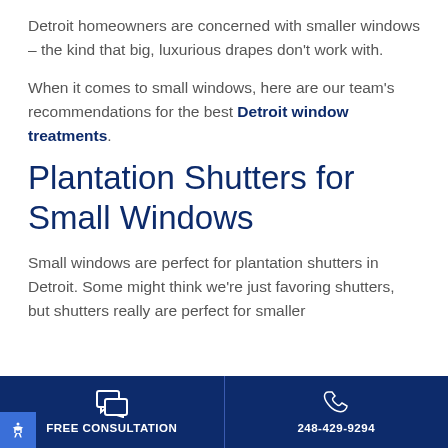Detroit homeowners are concerned with smaller windows – the kind that big, luxurious drapes don't work with.
When it comes to small windows, here are our team's recommendations for the best Detroit window treatments.
Plantation Shutters for Small Windows
Small windows are perfect for plantation shutters in Detroit. Some might think we're just favoring shutters, but shutters really are perfect for smaller
FREE CONSULTATION | 248-429-9294